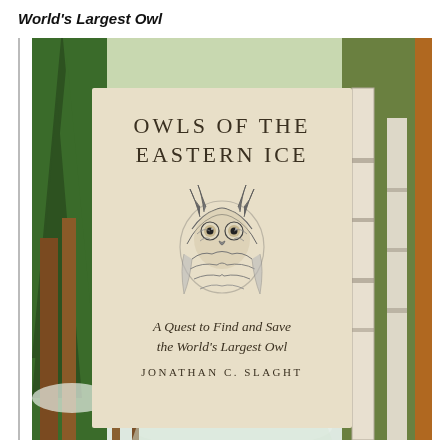World's Largest Owl
[Figure (photo): Photo of the book 'Owls of the Eastern Ice: A Quest to Find and Save the World's Largest Owl' by Jonathan C. Slaght, displayed in front of a snowy forest background with pine trees and birch trees. The book cover is a cream/beige color featuring an illustration of an owl's face and the title and author text.]